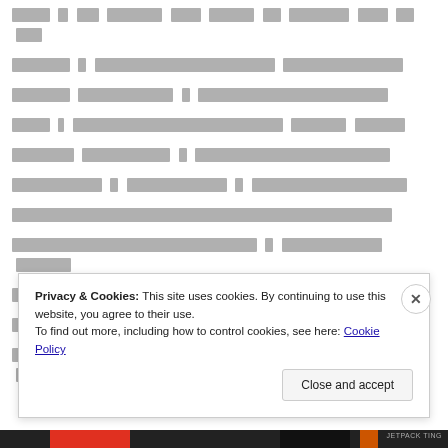[Redacted/obscured text content across multiple lines]
Privacy & Cookies: This site uses cookies. By continuing to use this website, you agree to their use.
To find out more, including how to control cookies, see here: Cookie Policy
Close and accept